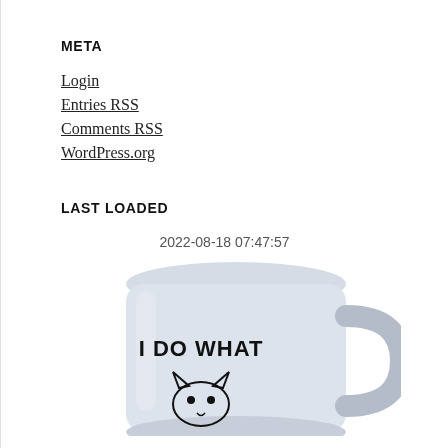META
Login
Entries RSS
Comments RSS
WordPress.org
LAST LOADED
2022-08-18 07:47:57
[Figure (photo): A white/light blue ceramic mug with a hand-drawn cat illustration and the text 'I DO WHAT' printed on it.]